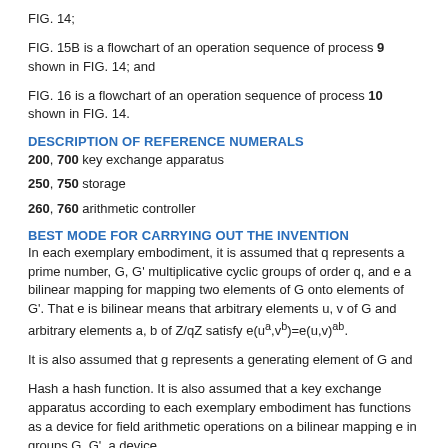FIG. 14;
FIG. 15B is a flowchart of an operation sequence of process 9 shown in FIG. 14; and
FIG. 16 is a flowchart of an operation sequence of process 10 shown in FIG. 14.
DESCRIPTION OF REFERENCE NUMERALS
200, 700 key exchange apparatus
250, 750 storage
260, 760 arithmetic controller
BEST MODE FOR CARRYING OUT THE INVENTION
In each exemplary embodiment, it is assumed that q represents a prime number, G, G' multiplicative cyclic groups of order q, and e a bilinear mapping for mapping two elements of G onto elements of G'. That e is bilinear means that arbitrary elements u, v of G and arbitrary elements a, b of Z/qZ satisfy e(u^a,v^b)=e(u,v)^ab.
It is also assumed that g represents a generating element of G and
Hash a hash function. It is also assumed that a key exchange apparatus according to each exemplary embodiment has functions as a device for field arithmetic operations on a bilinear mapping e in groups G, G', a device